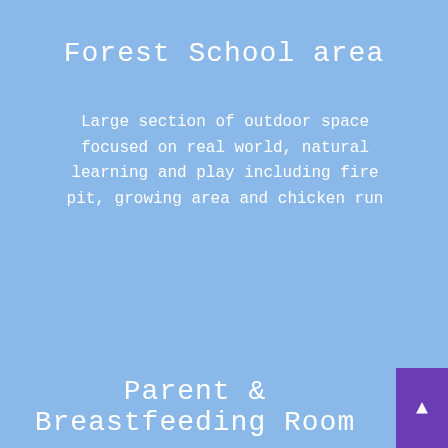Forest School area
Large section of outdoor space focused on real world, natural learning and play including fire pit, growing area and chicken run
Parent & Breastfeeding Room